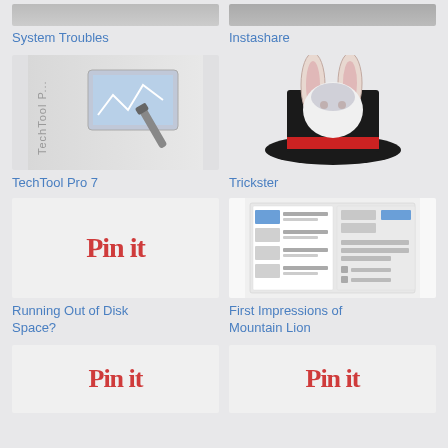[Figure (screenshot): Partial image of System Troubles app icon (top, cropped)]
System Troubles
[Figure (screenshot): Partial image of Instashare app icon (top, cropped)]
Instashare
[Figure (screenshot): TechTool Pro 7 app screenshot showing diagnostic tool with monitor and screwdriver graphic]
TechTool Pro 7
[Figure (screenshot): Trickster app icon showing a rabbit in a magician hat]
Trickster
[Figure (screenshot): Pin it graphic with red Pinterest-style text on grey background]
Running Out of Disk Space?
[Figure (screenshot): First Impressions of Mountain Lion - screenshot of Notification Center settings]
First Impressions of Mountain Lion
[Figure (screenshot): Pin it graphic (partial, bottom of page)]
[Figure (screenshot): Pin it graphic (partial, bottom of page, right column)]